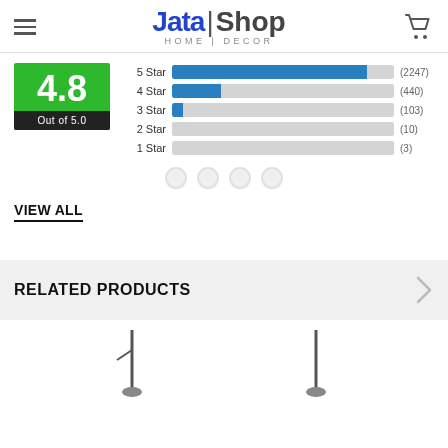[Figure (logo): Jata Shop Home Decor logo with hamburger menu and cart icon]
[Figure (bar-chart): Rating distribution]
VIEW ALL
RELATED PRODUCTS
[Figure (photo): Two product images partially visible at bottom of page]